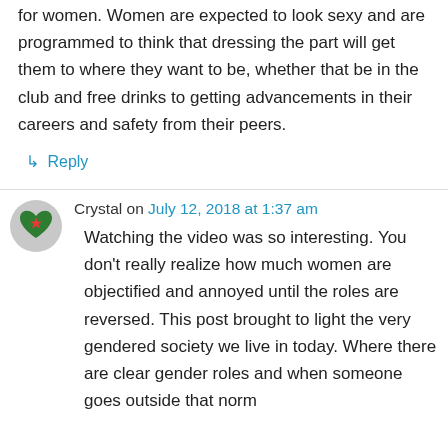for women. Women are expected to look sexy and are programmed to think that dressing the part will get them to where they want to be, whether that be in the club and free drinks to getting advancements in their careers and safety from their peers.
↳ Reply
Crystal on July 12, 2018 at 1:37 am
Watching the video was so interesting. You don't really realize how much women are objectified and annoyed until the roles are reversed. This post brought to light the very gendered society we live in today. Where there are clear gender roles and when someone goes outside that norm